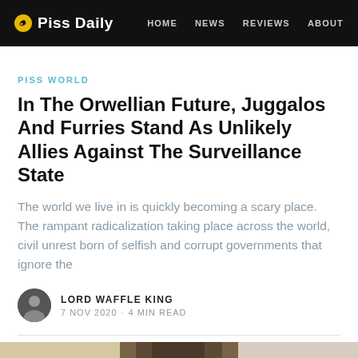Piss Daily  HOME  NEWS  REVIEWS  ABOUT
PISS WORLD
In The Orwellian Future, Juggalos And Furries Stand As Unlikely Allies Against The Surveillance State
The world we live in is quickly becoming a scary place. The rampant radicalization taking place across the world, civil unrest born of selfish and corrupt governments that ignore the
LORD WAFFLE KING
7 NOV 2020 · 4 MIN READ
[Figure (photo): Three people's heads/faces side by side: person with blond hair on left, person with short dark hair in center, older person with white/gray hair on right]